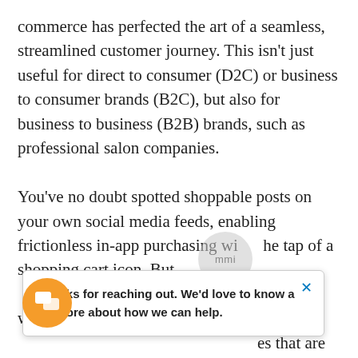commerce has perfected the art of a seamless, streamlined customer journey. This isn't just useful for direct to consumer (D2C) or business to consumer brands (B2C), but also for business to business (B2B) brands, such as professional salon companies.

You've no doubt spotted shoppable posts on your own social media feeds, enabling frictionless in-app purchasing wi the tap of a shopping cart icon. But erce has a wider es that are facilitated would also extend to and influencers' organic feeds – something that, with the help of mmi, be tracked, so you can see what revenues a nerated by those links. There is no wrong or
Thanks for reaching out. We'd love to know a bit more about how we can help.